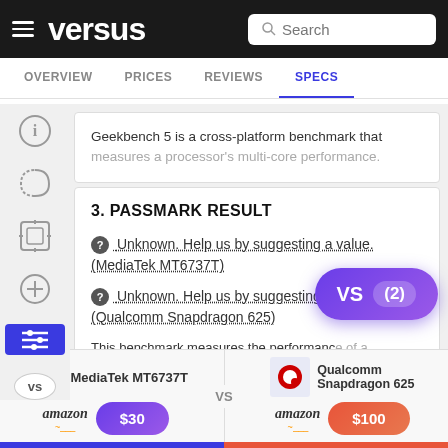versus — Search — OVERVIEW | PRICES | REVIEWS | SPECS
Geekbench 5 is a cross-platform benchmark that measures a processor's multi-core performance.
3. PASSMARK RESULT
Unknown. Help us by suggesting a value. (MediaTek MT6737T)
Unknown. Help us by suggesting a value. (Qualcomm Snapdragon 625)
This benchmark measures the performance of a CPU using multiple threads.
MediaTek MT6737T vs Qualcomm Snapdragon 625 — $30 / $100